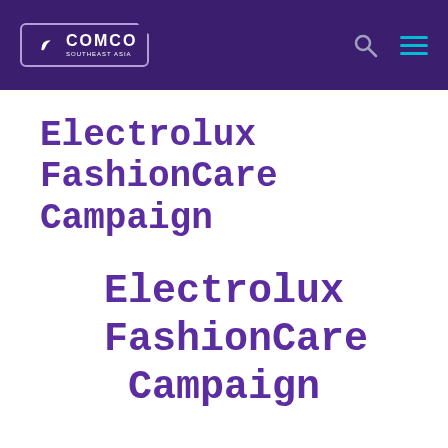COMCO SOUTHEAST ASIA
Electrolux FashionCare Campaign
Electrolux FashionCare Campaign